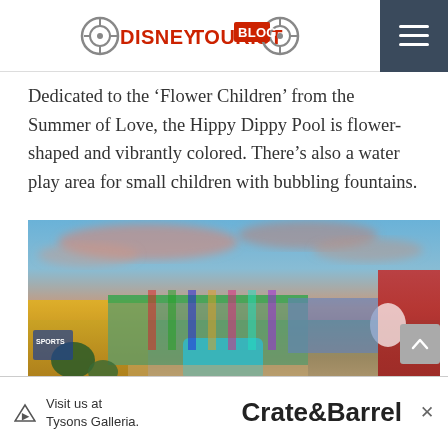DisneyTouristBlog
Dedicated to the ‘Flower Children’ from the Summer of Love, the Hippy Dippy Pool is flower-shaped and vibrantly colored. There’s also a water play area for small children with bubbling fountains.
[Figure (photo): Aerial/elevated view of Disney's Pop Century Resort showing the colorful hotel buildings surrounding the Hippy Dippy pool area at sunset with pink and blue clouds in the sky]
Visit us at Tysons Galleria.   Crate&Barrel